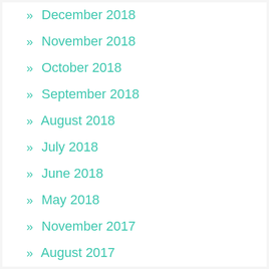» December 2018
» November 2018
» October 2018
» September 2018
» August 2018
» July 2018
» June 2018
» May 2018
» November 2017
» August 2017
» June 2016
» May 2016
» April 2016
» March 2016